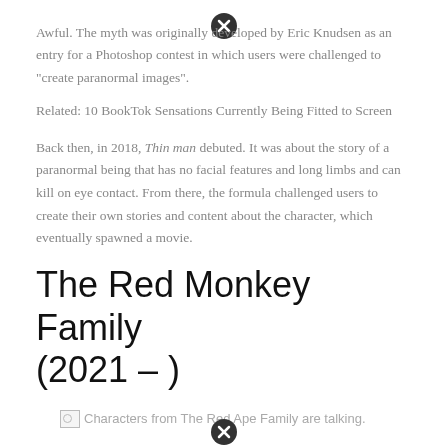Awful. The myth was originally developed by Eric Knudsen as an entry for a Photoshop contest in which users were challenged to "create paranormal images".
Related: 10 BookTok Sensations Currently Being Fitted to Screen
Back then, in 2018, Thin man debuted. It was about the story of a paranormal being that has no facial features and long limbs and can kill on eye contact. From there, the formula challenged users to create their own stories and content about the character, which eventually spawned a movie.
The Red Monkey Family (2021 – )
[Figure (photo): Broken image placeholder with alt text: Characters from The Red Ape Family are talking.]